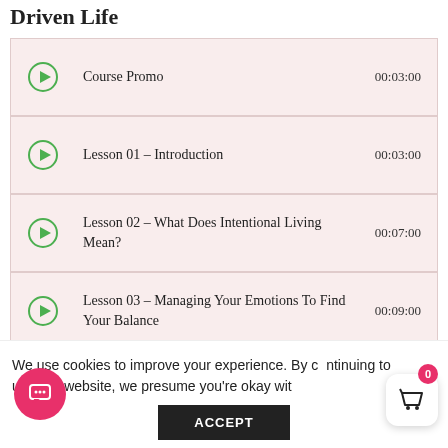Driven Life
Course Promo 00:03:00
Lesson 01 – Introduction 00:03:00
Lesson 02 – What Does Intentional Living Mean? 00:07:00
Lesson 03 – Managing Your Emotions To Find Your Balance 00:09:00
Lesson 04 – 6 Habits That Make You A Better Decision Maker 00:07:00
We use cookies to improve your experience. By continuing to use this website, we presume you're okay with
ACCEPT